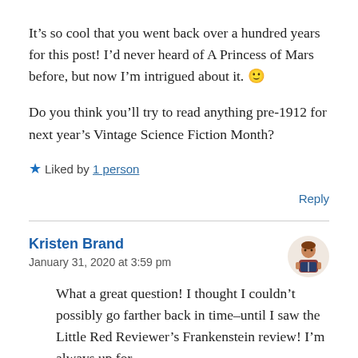It's so cool that you went back over a hundred years for this post! I'd never heard of A Princess of Mars before, but now I'm intrigued about it. 🙂
Do you think you'll try to read anything pre-1912 for next year's Vintage Science Fiction Month?
★ Liked by 1 person
Reply
Kristen Brand
January 31, 2020 at 3:59 pm
[Figure (illustration): Avatar icon of a person reading a book, orange/red colored illustration]
What a great question! I thought I couldn't possibly go farther back in time–until I saw the Little Red Reviewer's Frankenstein review! I'm always up for